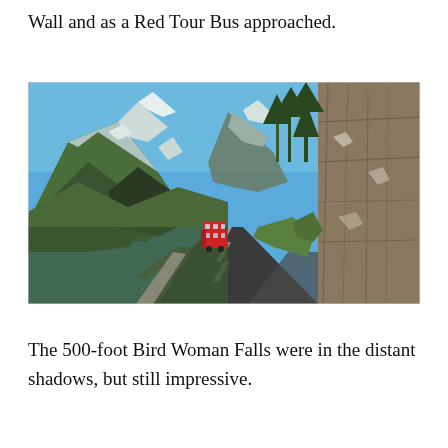Wall and as a Red Tour Bus approached.
[Figure (photo): A mountain road scene with a red tour bus driving along a narrow road carved into a rocky cliff face on the right side. Majestic mountains with snow-capped peaks and green forest are visible on the left. Clear blue sky above.]
The 500-foot Bird Woman Falls were in the distant shadows, but still impressive.